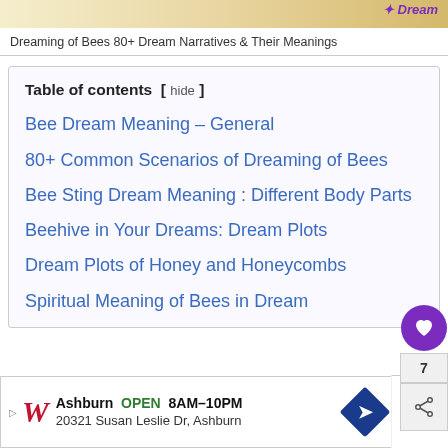[Figure (screenshot): Top banner image strip - decorative header image (partially visible)]
Dreaming of Bees 80+ Dream Narratives & Their Meanings
Table of contents  [ hide ]
Bee Dream Meaning – General
80+ Common Scenarios of Dreaming of Bees
Bee Sting Dream Meaning : Different Body Parts
Beehive in Your Dreams: Dream Plots
Dream Plots of Honey and Honeycombs
Spiritual Meaning of Bees in Dream